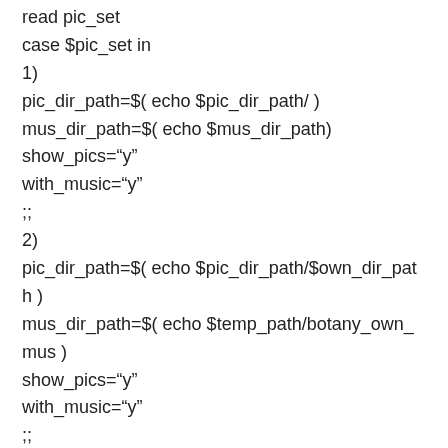read pic_set
case $pic_set in
1)
pic_dir_path=$( echo $pic_dir_path/ )
mus_dir_path=$( echo $mus_dir_path)
show_pics="y"
with_music="y"
;;
2)
pic_dir_path=$( echo $pic_dir_path/$own_dir_path )
mus_dir_path=$( echo $temp_path/botany_own_mus )
show_pics="y"
with_music="y"
;;
3)
opt_out_of_music_and_pics="y"
show_pics="n"